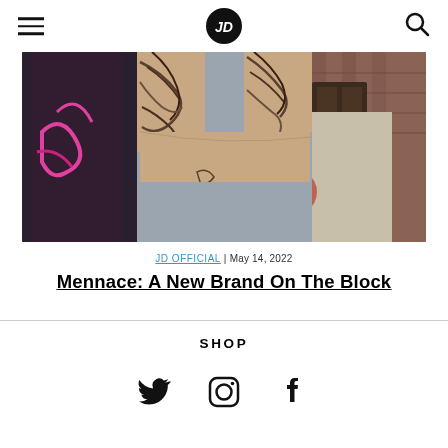JD (logo)
[Figure (photo): A tattooed man in a grey t-shirt standing in front of a brick building and corrugated metal with graffiti]
JD OFFICIAL | May 14, 2022
Mennace: A New Brand On The Block
SHOP
[Figure (other): Social media icons: Twitter, Instagram, Facebook]